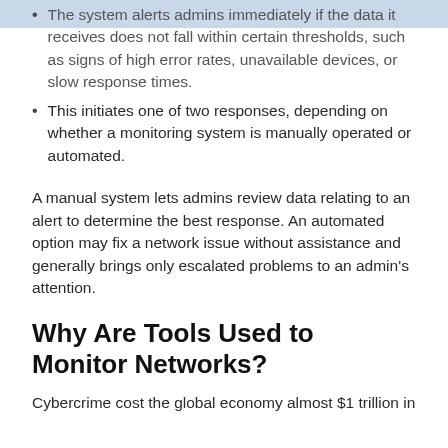The system alerts admins immediately if the data it receives does not fall within certain thresholds, such as signs of high error rates, unavailable devices, or slow response times.
This initiates one of two responses, depending on whether a monitoring system is manually operated or automated.
A manual system lets admins review data relating to an alert to determine the best response. An automated option may fix a network issue without assistance and generally brings only escalated problems to an admin’s attention.
Why Are Tools Used to Monitor Networks?
Cybercrime cost the global economy almost $1 trillion in